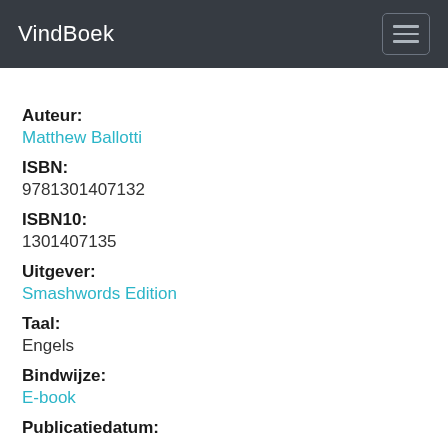VindBoek
Auteur:
Matthew Ballotti
ISBN:
9781301407132
ISBN10:
1301407135
Uitgever:
Smashwords Edition
Taal:
Engels
Bindwijze:
E-book
Publicatiedatum: